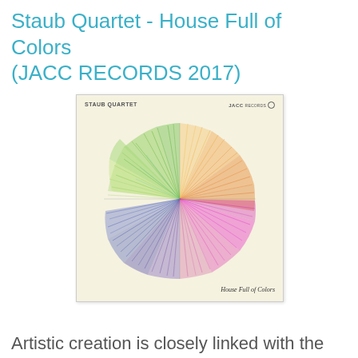Staub Quartet - House Full of Colors (JACC RECORDS 2017)
[Figure (photo): Album cover for 'House Full of Colors' by Staub Quartet on JACC Records 2017. A yellow-cream background with a circular color wheel illustration made of radiating brush strokes in green, blue, purple, pink, magenta, orange, and red arranged in quadrants. Text reads 'STAUB QUARTET' top left, 'JACCRECORDS' top right with a circle logo, and 'House Full of Colors' bottom right in italic.]
Artistic creation is closely linked with the